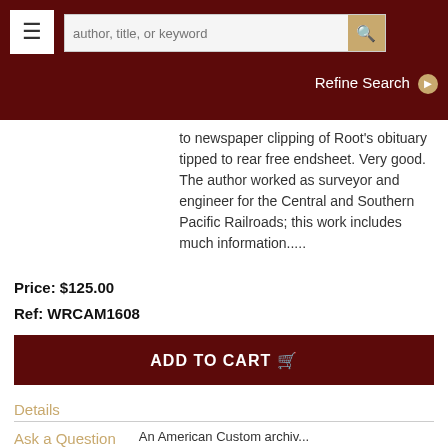author, title, or keyword | Refine Search
to newspaper clipping of Root's obituary tipped to rear free endsheet. Very good. The author worked as surveyor and engineer for the Central and Southern Pacific Railroads; this work includes much information.....
Price: $125.00
Ref: WRCAM1608
ADD TO CART
Details
Ask a Question